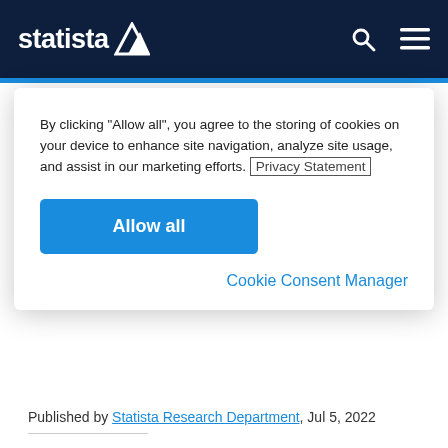statista
By clicking “Allow all”, you agree to the storing of cookies on your device to enhance site navigation, analyze site usage, and assist in our marketing efforts. Privacy Statement
Allow all
Cookie Consent Manager
Published by Statista Research Department, Jul 5, 2022
The training industry in the Unites States includes both internal and external resources engaged by companies to provide training to their staff, so that their staff have the specific skills they need to perform their job. Such skills